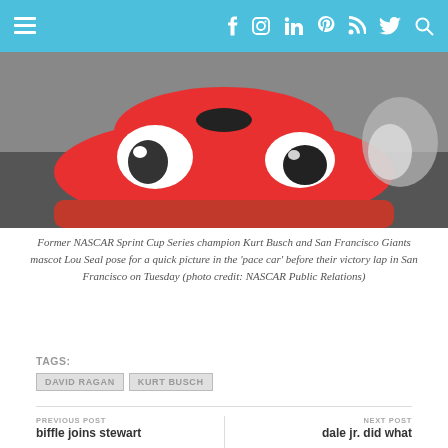Navigation bar with menu, facebook, instagram, linkedin, pinterest, rss, twitter, search icons
[Figure (photo): A red cartoon car mascot (resembling a character with eyes) — Kurt Busch and San Francisco Giants mascot Lou Seal posed in a pace car]
Former NASCAR Sprint Cup Series champion Kurt Busch and San Francisco Giants mascot Lou Seal pose for a quick picture in the 'pace car' before their victory lap in San Francisco on Tuesday (photo credit: NASCAR Public Relations)
TAGS:
DAVID RAGAN | KURT BUSCH
PREVIOUS POST
biffle joins stewart
NEXT POST
dale jr. did what